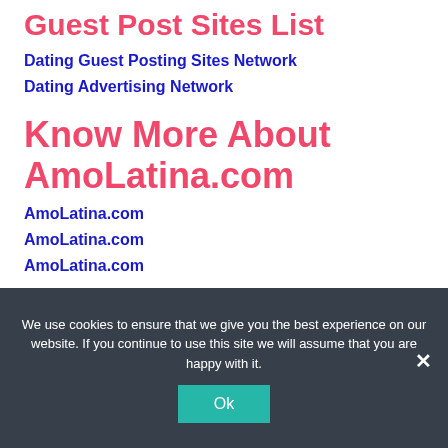Guest Post Sites List
Dating Guest Posting Sites Network
Dating Advertising Network
Know More About AmoLatina.com
AmoLatina.com
AmoLatina.com
AmoLatina.com
We use cookies to ensure that we give you the best experience on our website. If you continue to use this site we will assume that you are happy with it.
Ok